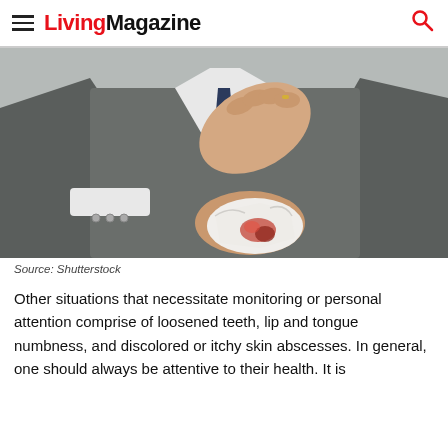Living Magazine
[Figure (photo): Person in grey suit holding hand to chest, holding a tissue with blood stains]
Source: Shutterstock
Other situations that necessitate monitoring or personal attention comprise of loosened teeth, lip and tongue numbness, and discolored or itchy skin abscesses. In general, one should always be attentive to their health. It is